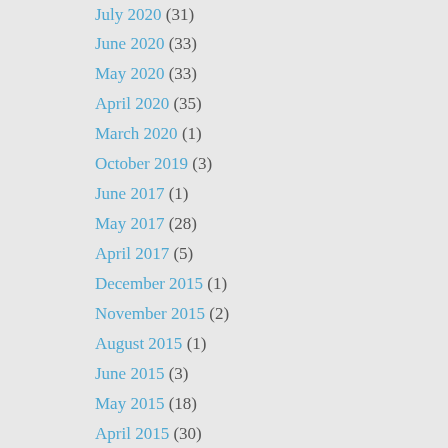July 2020 (31)
June 2020 (33)
May 2020 (33)
April 2020 (35)
March 2020 (1)
October 2019 (3)
June 2017 (1)
May 2017 (28)
April 2017 (5)
December 2015 (1)
November 2015 (2)
August 2015 (1)
June 2015 (3)
May 2015 (18)
April 2015 (30)
March 2015 (16)
February 2015 (4)
January 2015 (1)
December 2014 (12)
November 2014 (14)
October 2014 (8)